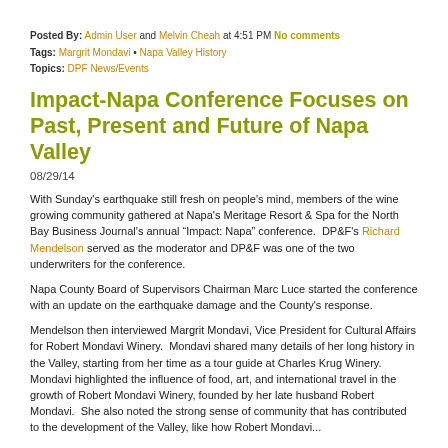Posted By: Admin User and Melvin Cheah at 4:51 PM  No comments
Tags: Margrit Mondavi • Napa Valley History
Topics: DPF News/Events
Impact-Napa Conference Focuses on Past, Present and Future of Napa Valley
08/29/14
With Sunday's earthquake still fresh on people's mind, members of the wine growing community gathered at Napa's Meritage Resort & Spa for the North Bay Business Journal's annual "Impact: Napa" conference.  DP&F's Richard Mendelson served as the moderator and DP&F was one of the two underwriters for the conference.
Napa County Board of Supervisors Chairman Marc Luce started the conference with an update on the earthquake damage and the County's response.
Mendelson then interviewed Margrit Mondavi, Vice President for Cultural Affairs for Robert Mondavi Winery.  Mondavi shared many details of her long history in the Valley, starting from her time as a tour guide at Charles Krug Winery.  Mondavi highlighted the influence of food, art, and international travel in the growth of Robert Mondavi Winery, founded by her late husband Robert Mondavi.  She also noted the strong sense of community that has contributed to the development of the Valley, like how Robert Mondavi...